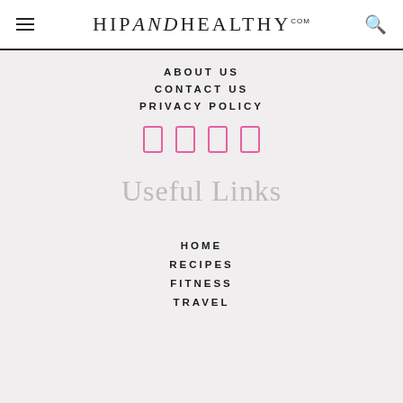HIPANDHEALTHY.COM
ABOUT US
CONTACT US
PRIVACY POLICY
[Figure (other): Four pink rectangular social media icons in a row]
Useful Links
HOME
RECIPES
FITNESS
TRAVEL